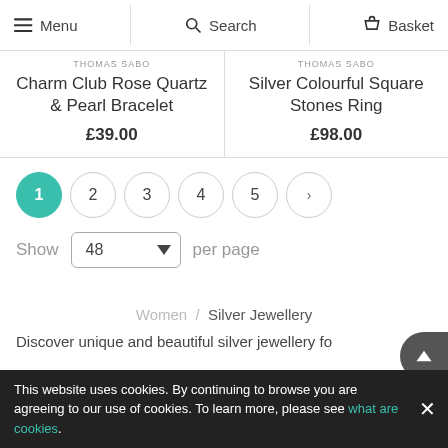Menu  Search  Basket
THOMAS SABO
Charm Club Rose Quartz & Pearl Bracelet
£39.00
THOMAS SABO
Silver Colourful Square Stones Ring
£98.00
1  2  3  4  5  >
Show  48  per page
Women / Silver Jewellery
Discover unique and beautiful silver jewellery fo
This website uses cookies. By continuing to browse you are agreeing to our use of cookies. To learn more, please see what are cookies.